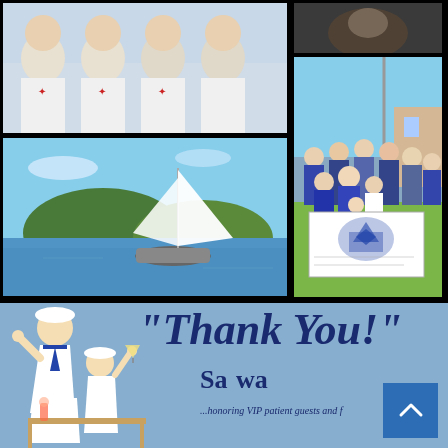[Figure (photo): Group of people in white t-shirts with red logos, team photo]
[Figure (photo): Dark cropped photo, top right corner, partially visible animal or figure]
[Figure (photo): Sailboat on water with green hills in background, blue sky]
[Figure (photo): Large group of people outdoors holding a blue and white banner/flag]
[Figure (illustration): Vintage nautical illustration of two women in sailor outfits]
“Thank You!”
Sa wa
...honoring VIP patient guests and f